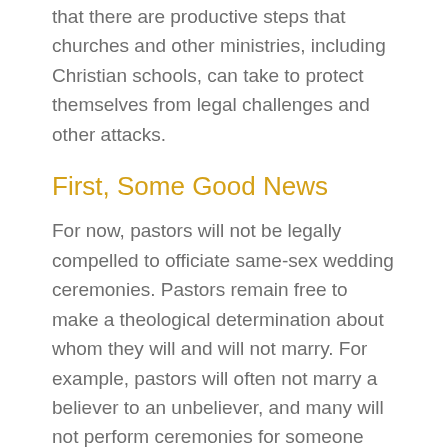that there are productive steps that churches and other ministries, including Christian schools, can take to protect themselves from legal challenges and other attacks.
First, Some Good News
For now, pastors will not be legally compelled to officiate same-sex wedding ceremonies. Pastors remain free to make a theological determination about whom they will and will not marry. For example, pastors will often not marry a believer to an unbeliever, and many will not perform ceremonies for someone they know didn't have Biblical grounds for a previous divorce. Nothing in the Supreme Court's opinion changes the freedom of pastors to continue to make those theologically based decisions about whom they will marry.